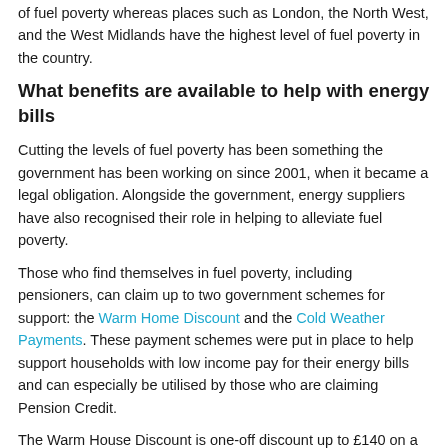of fuel poverty whereas places such as London, the North West, and the West Midlands have the highest level of fuel poverty in the country.
What benefits are available to help with energy bills
Cutting the levels of fuel poverty has been something the government has been working on since 2001, when it became a legal obligation. Alongside the government, energy suppliers have also recognised their role in helping to alleviate fuel poverty.
Those who find themselves in fuel poverty, including pensioners, can claim up to two government schemes for support: the Warm Home Discount and the Cold Weather Payments. These payment schemes were put in place to help support households with low income pay for their energy bills and can especially be utilised by those who are claiming Pension Credit.
The Warm House Discount is one-off discount up to £140 on a person's electricity bill for winter 2021 and 2022. The Cold...